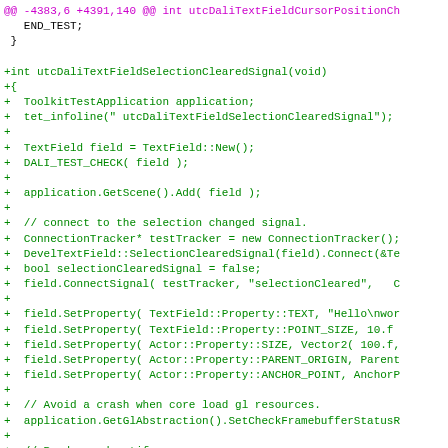[Figure (screenshot): A code diff view showing a C++ source file. The top shows a diff header in magenta indicating line numbers @@ -4383,6 +4391,140 @@ int utcDaliTextFieldCursorPositionCh. Below are lines prefixed with END_TEST; and closing brace in black, followed by added lines (prefixed with +) in green showing the function utcDaliTextFieldSelectionClearedSignal(void) and its body including ToolkitTestApplication, tet_infoline, TextField creation, scene addition, ConnectionTracker, DevelTextField::SelectionClearedSignal connect, bool selectionClearedSignal, field.ConnectSignal, SetProperty calls for TEXT/POINT_SIZE/SIZE/PARENT_ORIGIN/ANCHOR_POINT, crash avoidance comment, GetGlAbstraction call, Render and notify comment, SendNotification, and Render calls.]